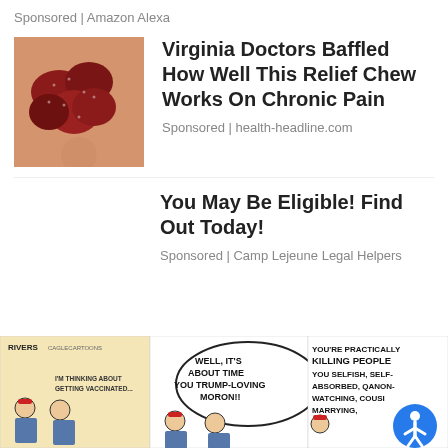Sponsored | Amazon Alexa
[Figure (photo): Close-up photo of dark red gummy candy pieces held in a hand]
Virginia Doctors Baffled How Well This Relief Chew Works On Chronic Pain
Sponsored | health-headline.com
You May Be Eligible! Find Out Today!
Sponsored | Camp Lejeune Legal Helpers
[Figure (illustration): Political cartoon strip showing characters discussing vaccination, with speech bubbles including 'WELL, IT'S ABOUT TIME YOU TRUMP-LOVING MORON!!' and 'YOU'RE PRACTICALLY KILLING PEOPLE YOU SELFISH, SELF-ABSORBED, QANON-WATCHING, COUSIN-MARRYING, NEAR...']